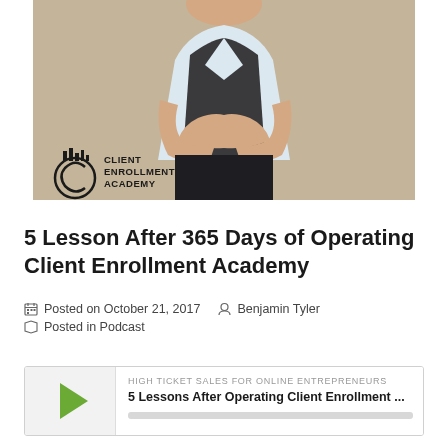[Figure (photo): Person in dark vest with arms crossed, standing against a beige/tan background. Client Enrollment Academy logo overlaid in bottom left corner of the photo.]
5 Lesson After 365 Days of Operating Client Enrollment Academy
Posted on October 21, 2017   Benjamin Tyler
Posted in Podcast
[Figure (other): Audio podcast player widget with green play button triangle on left, showing show title 'HIGH TICKET SALES FOR ONLINE ENTREPRENEURS' and episode title '5 Lessons After Operating Client Enrollment ...' with a progress bar below.]